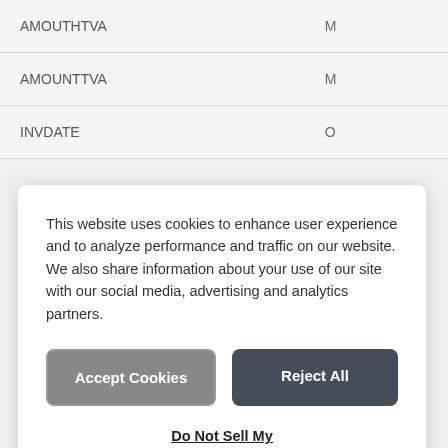| AMOUTHTVA | M |
| AMOUNTTVA | M |
| INVDATE | O |
This website uses cookies to enhance user experience and to analyze performance and traffic on our website. We also share information about your use of our site with our social media, advertising and analytics partners.
Accept Cookies
Reject All
Do Not Sell My Personal Information